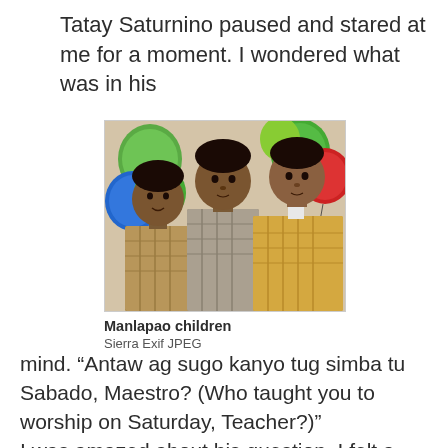Tatay Saturnino paused and stared at me for a moment. I wondered what was in his
[Figure (photo): Three young boys standing together in front of colorful balloons (green, blue, red). They are wearing plaid/checkered shirts. The setting appears to be a party or celebration.]
Manlapao children
Sierra Exif JPEG
mind. “Antaw ag sugo kanyo tug simba tu Sabado, Maestro? (Who taught you to worship on Saturday, Teacher?)”
I was amazed about his question. I felt a chill